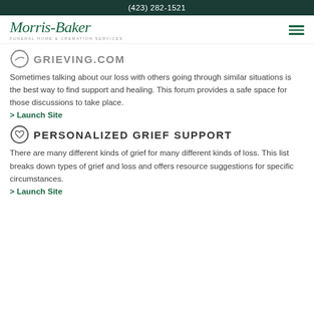(423) 282-1521
[Figure (logo): Morris-Baker Funeral Home & Cremation Services logo in green italic script]
GRIEVING.COM
Sometimes talking about our loss with others going through similar situations is the best way to find support and healing. This forum provides a safe space for those discussions to take place.
> Launch Site
PERSONALIZED GRIEF SUPPORT
There are many different kinds of grief for many different kinds of loss. This list breaks down types of grief and loss and offers resource suggestions for specific circumstances.
> Launch Site